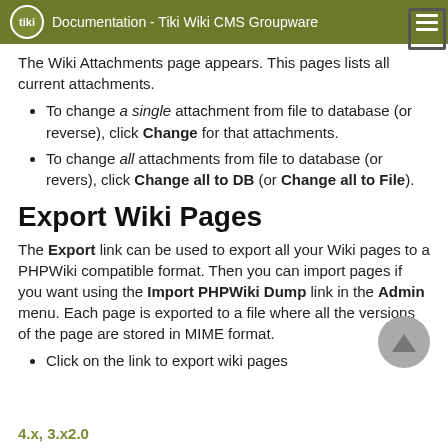Documentation - Tiki Wiki CMS Groupware
The Wiki Attachments page appears. This pages lists all current attachments.
To change a single attachment from file to database (or reverse), click Change for that attachments.
To change all attachments from file to database (or revers), click Change all to DB (or Change all to File).
Export Wiki Pages
The Export link can be used to export all your Wiki pages to a PHPWiki compatible format. Then you can import pages if you want using the Import PHPWiki Dump link in the Admin menu. Each page is exported to a file where all the versions of the page are stored in MIME format.
Click on the link to export wiki pages
4.x, 3.x2.0